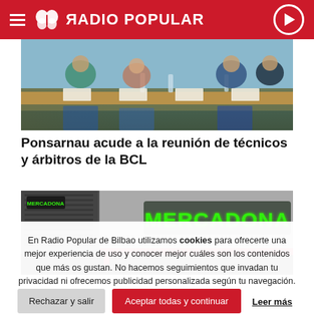RADIO POPULAR
[Figure (photo): People seated at a conference table with name placards, meeting room setting]
Ponsarnau acude a la reunión de técnicos y árbitros de la BCL
[Figure (photo): Mercadona store exterior with green illuminated sign]
En Radio Popular de Bilbao utilizamos cookies para ofrecerte una mejor experiencia de uso y conocer mejor cuáles son los contenidos que más os gustan. No hacemos seguimientos que invadan tu privacidad ni ofrecemos publicidad personalizada según tu navegación. Al hacer clic en 'Aceptar todo', aceptas el uso de TODAS las cookies.
Rechazar y salir
Aceptar todas y continuar
Leer más